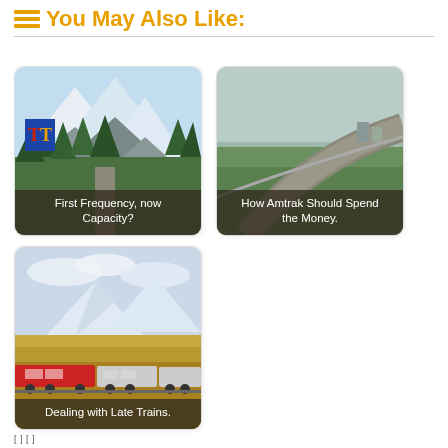You May Also Like:
[Figure (photo): Mountain landscape with snow-capped peaks and green trees; article thumbnail for 'First Frequency, now Capacity?']
[Figure (photo): Aerial or side view of a road curving through green farmland; article thumbnail for 'How Amtrak Should Spend the Money.']
[Figure (photo): Amtrak train passing through autumn mountain landscape; article thumbnail for 'Dealing with Late Trains.']
[          ] [                              ]